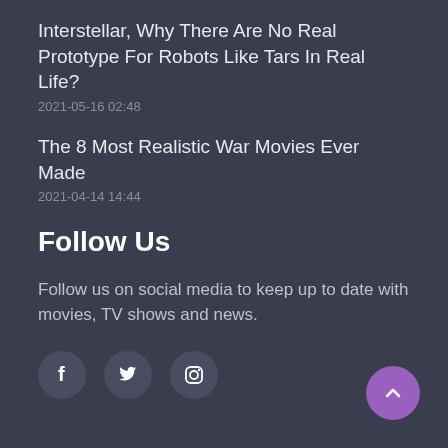Interstellar, Why There Are No Real Prototype For Robots Like Tars In Real Life?
2021-05-16 02:48
The 8 Most Realistic War Movies Ever Made
2021-04-14 14:44
Follow Us
Follow us on social media to keep up to date with movies, TV shows and news.
[Figure (illustration): Social media icons: Facebook, Twitter, Instagram in circular buttons]